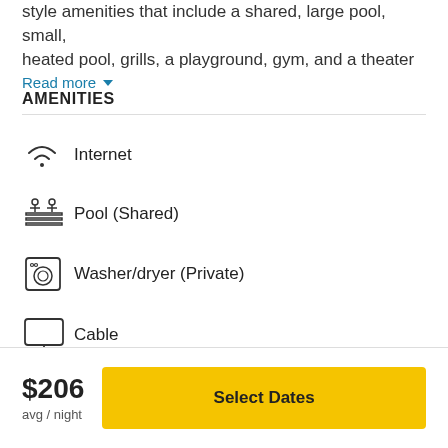style amenities that include a shared, large pool, small, heated pool, grills, a playground, gym, and a theater
Read more
AMENITIES
Internet
Pool (Shared)
Washer/dryer (Private)
Cable
$206
avg / night
Select Dates